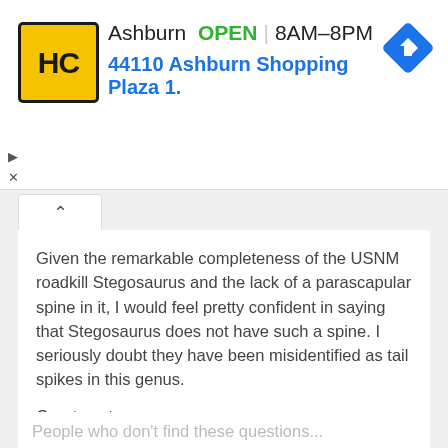[Figure (screenshot): Advertisement banner for Hairclub Ashburn location showing logo, OPEN status, hours 8AM-8PM, address 44110 Ashburn Shopping Plaza 1., and navigation icon]
Given the remarkable completeness of the USNM roadkill Stegosaurus and the lack of a parascapular spine in it, I would feel pretty confident in saying that Stegosaurus does not have such a spine. I seriously doubt they have been misidentified as tail spikes in this genus.
Great post.
Log in to post comments
By Dan Chure (not verified) on 29 Dec 2010
#permalink
People who don't find these questions...